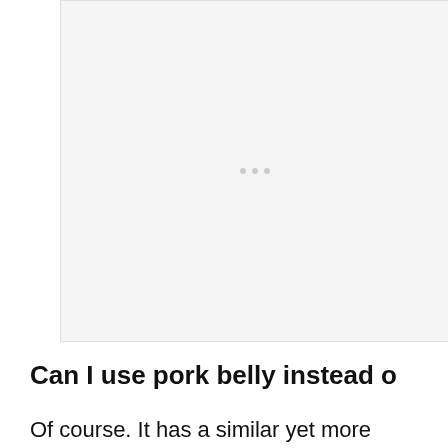[Figure (photo): Large blank/white image placeholder area with three small grey dots centered, indicating loading or ad space]
[Figure (other): Heart icon button (teal/cyan circle) and share icon button (white circle with shadow) on the right side]
Can I use pork belly instead o
Of course. It has a similar yet more
[Figure (screenshot): WHAT'S NEXT callout box with thumbnail image and text '74+ Easy Air Fryer Recipe...']